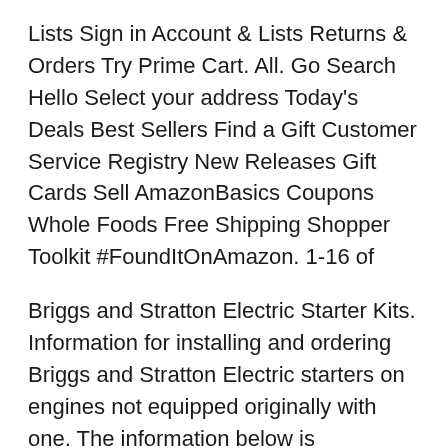Lists Sign in Account & Lists Returns & Orders Try Prime Cart. All. Go Search Hello Select your address Today's Deals Best Sellers Find a Gift Customer Service Registry New Releases Gift Cards Sell AmazonBasics Coupons Whole Foods Free Shipping Shopper Toolkit #FoundItOnAmazon. 1-16 of
Briggs and Stratton Electric Starter Kits. Information for installing and ordering Briggs and Stratton Electric starters on engines not equipped originally with one. The information below is everything available for ordering the correct electric starter kit. These kits do not have magnets in the flywheel to charge a battery (most engines do not The specific